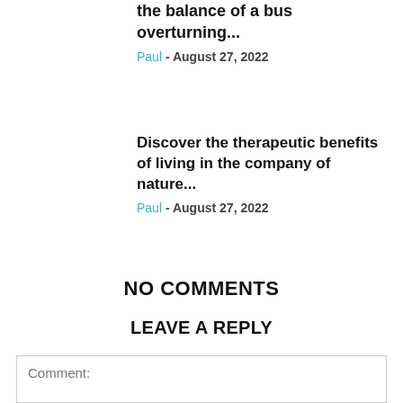the balance of a bus overturning...
Paul - August 27, 2022
Discover the therapeutic benefits of living in the company of nature...
Paul - August 27, 2022
NO COMMENTS
LEAVE A REPLY
Comment: